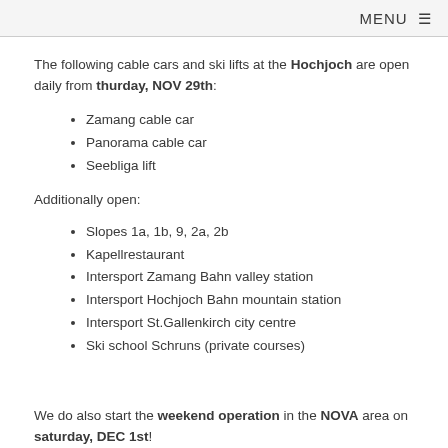MENU ≡
The following cable cars and ski lifts at the Hochjoch are open daily from thurday, NOV 29th:
Zamang cable car
Panorama cable car
Seebliga lift
Additionally open:
Slopes 1a, 1b, 9, 2a, 2b
Kapellrestaurant
Intersport Zamang Bahn valley station
Intersport Hochjoch Bahn mountain station
Intersport St.Gallenkirch city centre
Ski school Schruns (private courses)
We do also start the weekend operation in the NOVA area on saturday, DEC 1st!